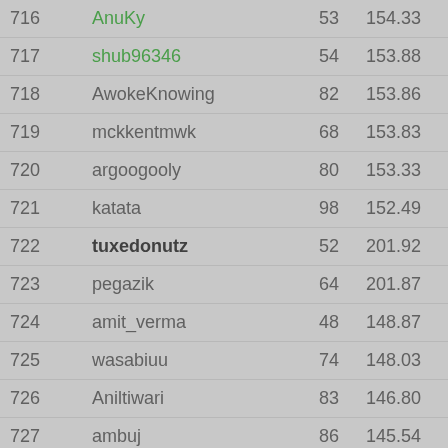| Rank | Name | Col1 | Col2 | Special | Last |
| --- | --- | --- | --- | --- | --- |
| 716 | AnuKy | 53 | 154.33 |  | 1 |
| 717 | shub96346 | 54 | 153.88 |  | 1 |
| 718 | AwokeKnowing | 82 | 153.86 |  | 1 |
| 719 | mckkentmwk | 68 | 153.83 |  | 1 |
| 720 | argoogooly | 80 | 153.33 |  | 1 |
| 721 | katata | 98 | 152.49 |  | 1 |
| 722 | tuxedonutz | 52 | 201.92 | -50 | 1 |
| 723 | pegazik | 64 | 201.87 | -50 | 1 |
| 724 | amit_verma | 48 | 148.87 |  | 1 |
| 725 | wasabiuu | 74 | 148.03 |  | 1 |
| 726 | Aniltiwari | 83 | 146.80 | 0.00 | 1 |
| 727 | ambuj | 86 | 145.54 |  | 1 |
| 728 | tosif | 82 | 119.64 | +25 | 1 |
| 729 | vickeymit | 84 | 144.34 |  | 1 |
| 730 | casterly-rock | 42 | 144.05 |  | 1 |